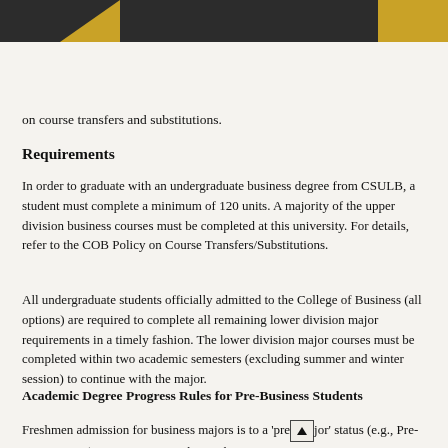on course transfers and substitutions.
Requirements
In order to graduate with an undergraduate business degree from CSULB, a student must complete a minimum of 120 units. A majority of the upper division business courses must be completed at this university. For details, refer to the COB Policy on Course Transfers/Substitutions.
All undergraduate students officially admitted to the College of Business (all options) are required to complete all remaining lower division major requirements in a timely fashion. The lower division major courses must be completed within two academic semesters (excluding summer and winter session) to continue with the major.
Academic Degree Progress Rules for Pre-Business Students
Freshmen admission for business majors is to a 'pre-major' status (e.g., Pre-management). Continuation in the pre-business major is